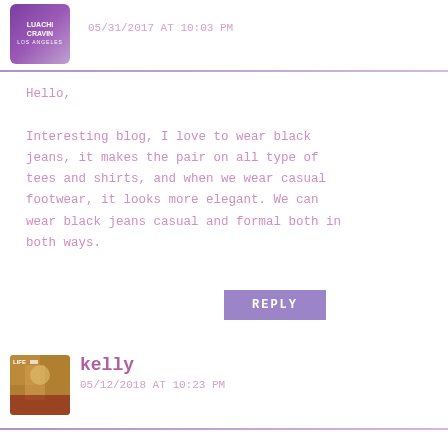[Figure (photo): Avatar/logo image for Luachi Cravin blog, purple tones]
05/31/2017 AT 10:03 PM
Hello,

Interesting blog, I love to wear black jeans, it makes the pair on all type of tees and shirts, and when we wear casual footwear, it looks more elegant. We can wear black jeans casual and formal both in both ways.
REPLY
[Figure (photo): Avatar photo of kelly, warm outdoor tones]
kelly
05/12/2018 AT 10:23 PM